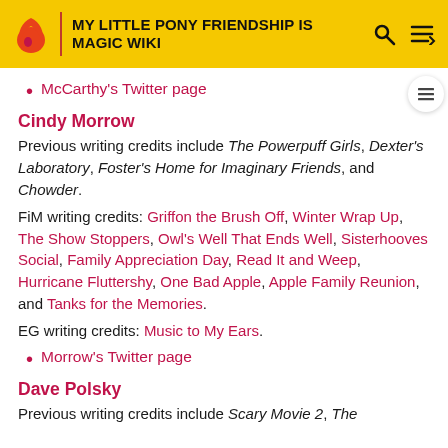MY LITTLE PONY FRIENDSHIP IS MAGIC WIKI
McCarthy's Twitter page
Cindy Morrow
Previous writing credits include The Powerpuff Girls, Dexter's Laboratory, Foster's Home for Imaginary Friends, and Chowder.
FiM writing credits: Griffon the Brush Off, Winter Wrap Up, The Show Stoppers, Owl's Well That Ends Well, Sisterhooves Social, Family Appreciation Day, Read It and Weep, Hurricane Fluttershy, One Bad Apple, Apple Family Reunion, and Tanks for the Memories.
EG writing credits: Music to My Ears.
Morrow's Twitter page
Dave Polsky
Previous writing credits include Scary Movie 2, The